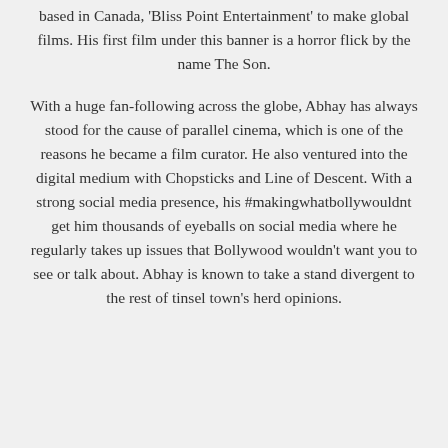based in Canada, 'Bliss Point Entertainment' to make global films. His first film under this banner is a horror flick by the name The Son.
With a huge fan-following across the globe, Abhay has always stood for the cause of parallel cinema, which is one of the reasons he became a film curator. He also ventured into the digital medium with Chopsticks and Line of Descent. With a strong social media presence, his #makingwhatbollywouldnt get him thousands of eyeballs on social media where he regularly takes up issues that Bollywood wouldn't want you to see or talk about. Abhay is known to take a stand divergent to the rest of tinsel town's herd opinions.